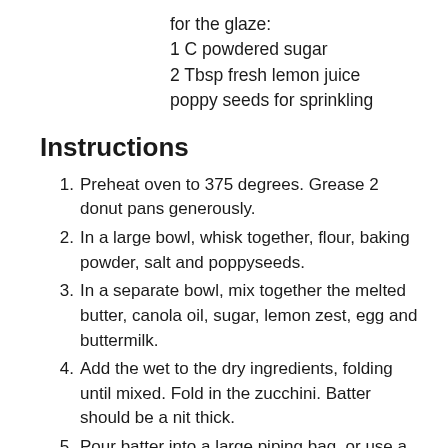for the glaze:
1 C powdered sugar
2 Tbsp fresh lemon juice
poppy seeds for sprinkling
Instructions
Preheat oven to 375 degrees. Grease 2 donut pans generously.
In a large bowl, whisk together, flour, baking powder, salt and poppyseeds.
In a separate bowl, mix together the melted butter, canola oil, sugar, lemon zest, egg and buttermilk.
Add the wet to the dry ingredients, folding until mixed. Fold in the zucchini. Batter should be a nit thick.
Pour batter into a large piping bag, or use a ziplock bag, and cut the tip off. Pipe